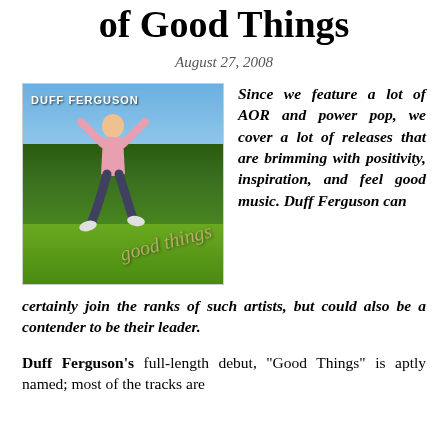of Good Things
August 27, 2008
[Figure (photo): Album cover for Duff Ferguson 'Good Things' showing a person jumping with arms raised against a blue sky and green landscape background. Artist name 'DUFF FERGUSON' appears at top and 'good things' in cursive at bottom right.]
Since we feature a lot of AOR and power pop, we cover a lot of releases that are brimming with positivity, inspiration, and feel good music. Duff Ferguson can certainly join the ranks of such artists, but could also be a contender to be their leader.
Duff Ferguson's full-length debut, “Good Things” is aptly named; most of the tracks are